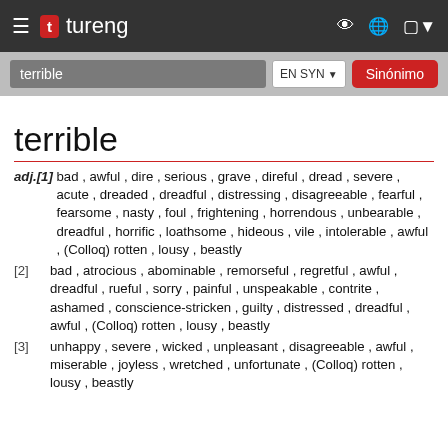tureng
terrible | EN SYN | Sinónimo
terrible
adj.[1] bad , awful , dire , serious , grave , direful , dread , severe , acute , dreaded , dreadful , distressing , disagreeable , fearful , fearsome , nasty , foul , frightening , horrendous , unbearable , dreadful , horrific , loathsome , hideous , vile , intolerable , awful , (Colloq) rotten , lousy , beastly
[2] bad , atrocious , abominable , remorseful , regretful , awful , dreadful , rueful , sorry , painful , unspeakable , contrite , ashamed , conscience-stricken , guilty , distressed , dreadful , awful , (Colloq) rotten , lousy , beastly
[3] unhappy , severe , wicked , unpleasant , disagreeable , awful , miserable , joyless , wretched , unfortunate , (Colloq) rotten , lousy , beastly